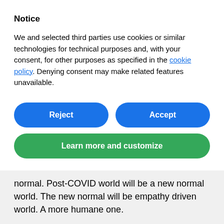Notice
We and selected third parties use cookies or similar technologies for technical purposes and, with your consent, for other purposes as specified in the cookie policy. Denying consent may make related features unavailable.
Reject
Accept
Learn more and customize
normal. Post-COVID world will be a new normal world. The new normal will be empathy driven world. A more humane one.
That needs to translate into your messaging, engagement, and overall brand experience.